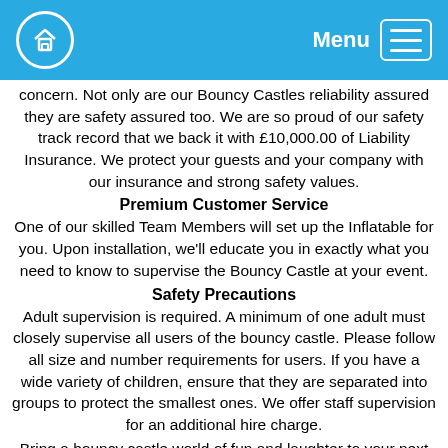Menu
concern. Not only are our Bouncy Castles reliability assured they are safety assured too. We are so proud of our safety track record that we back it with £10,000.00 of Liability Insurance. We protect your guests and your company with our insurance and strong safety values.
Premium Customer Service
One of our skilled Team Members will set up the Inflatable for you. Upon installation, we'll educate you in exactly what you need to know to supervise the Bouncy Castle at your event.
Safety Precautions
Adult supervision is required. A minimum of one adult must closely supervise all users of the bouncy castle. Please follow all size and number requirements for users. If you have a wide variety of children, ensure that they are separated into groups to protect the smallest ones. We offer staff supervision for an additional hire charge.
Bring a bouncy castle world of fun and laughter to your next corporate or private event. A joy to behold, the children at your event will have hours of fun bouncing, sliding, and crawling all over the bouncy castle while their parents smile on in delight.
Should you require any assistance, our friendly team can be contacted on